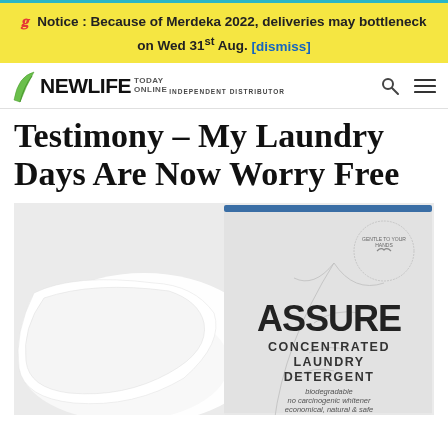Notice : Because of Merdeka 2022, deliveries may bottleneck on Wed 31st Aug. [dismiss]
[Figure (logo): NEWLIFE TODAY ONLINE INDEPENDENT DISTRIBUTOR logo with green leaf icon]
Testimony – My Laundry Days Are Now Worry Free
[Figure (photo): Product photo of ASSURE Concentrated Laundry Detergent box next to white folded fabric/pillow on white background. Box has tree branch design and text: ASSURE CONCENTRATED LAUNDRY DETERGENT, biodegradable, no carcinogenic whitener, economical, natural & safe. Circular badge reads: Gentle to your hands.]